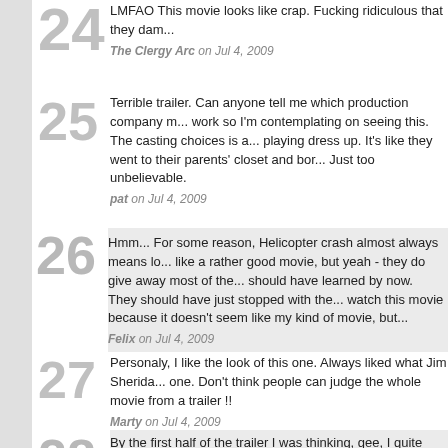24 — LMFAO This movie looks like crap. Fucking ridiculous that they damn... — The Clergy Arc on Jul 4, 2009
25 — Terrible trailer. Can anyone tell me which production company m... work so I'm contemplating on seeing this. The casting choices is a... playing dress up. It's like they went to their parents' closet and bor... Just too unbelievable. — pat on Jul 4, 2009
26 — Hmm... For some reason, Helicopter crash almost always means lo... like a rather good movie, but yeah - they do give away most of the... should have learned by now. They should have just stopped with the... watch this movie because it doesn't seem like my kind of movie, but... — Felix on Jul 4, 2009
27 — Personaly, I like the look of this one. Always liked what Jim Sherida... one. Don't think people can judge the whole movie from a trailer !! — Marty on Jul 4, 2009
28 — By the first half of the trailer I was thinking, gee, I quite liked the D... seeing this, but then comes Tobey Maguire and it seems like some...